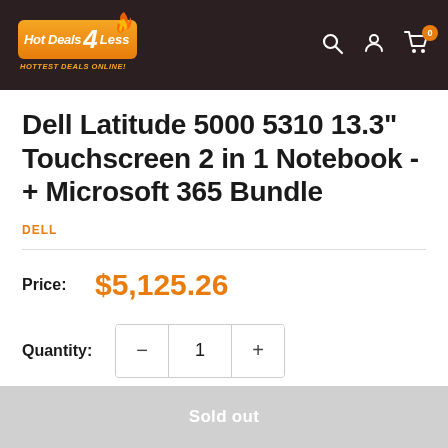Hot Deals 4 Less — HOTTEST DEALS ONLINE!
Dell Latitude 5000 5310 13.3" Touchscreen 2 in 1 Notebook - + Microsoft 365 Bundle
DELL
Price: $5,125.26
Quantity: 1
Sold out